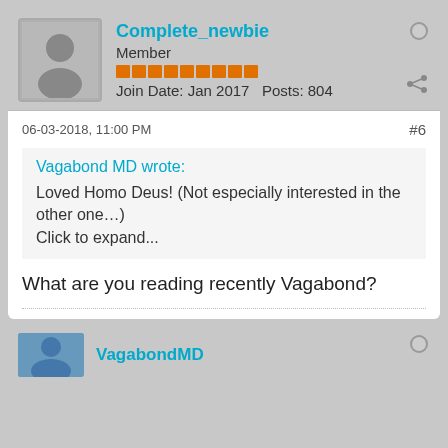Complete_newbie
Member
Join Date: Jan 2017  Posts: 804
06-03-2018, 11:00 PM
#6
Vagabond MD wrote:
Loved Homo Deus! (Not especially interested in the other one…)
Click to expand...
What are you reading recently Vagabond?
VagabondMD